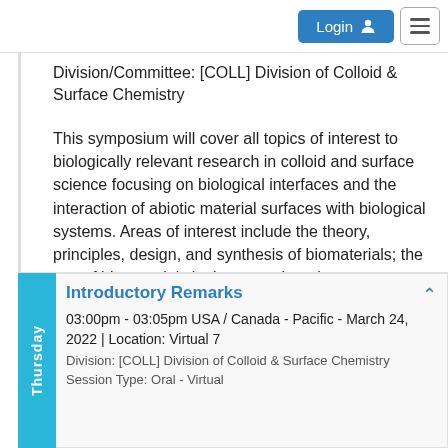Login  ≡
Division/Committee: [COLL] Division of Colloid & Surface Chemistry
This symposium will cover all topics of interest to biologically relevant research in colloid and surface science focusing on biological interfaces and the interaction of abiotic material surfaces with biological systems. Areas of interest include the theory, principles, design, and synthesis of biomaterials; the use of biomaterials in tissue engineering; characterization of new or existing biomaterials; and the interactions of biomaterials with proteins, membranes, cells, and tissues.
Introductory Remarks
03:00pm - 03:05pm USA / Canada - Pacific - March 24, 2022 | Location: Virtual 7
Division: [COLL] Division of Colloid & Surface Chemistry
Session Type: Oral - Virtual